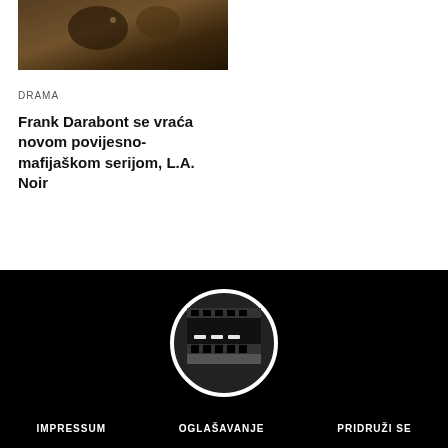[Figure (photo): Dark brownish cinematic still from a film or TV show, showing a dimly lit scene]
DRAMA
Frank Darabont se vraća novom povijesno-mafijaškom serijom, L.A. Noir
[Figure (logo): Circular logo with a film strip or TV channel icon on a dark background, white circle border]
IMPRESSUM   OGLAŠAVANJE   PRIDRUŽI SE